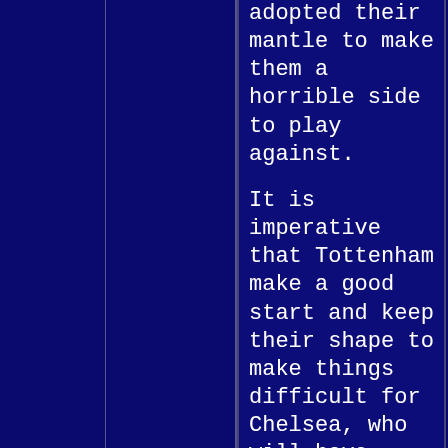adopted their mantle to make them a horrible side to play against.

It is imperative that Tottenham make a good start and keep their shape to make things difficult for Chelsea, who will have periods in the game where they have a lot of possession. The team have shown that they can be disciplined without the ball despite having players missing through injury. Pochettino has used the squad well over Christmas and New